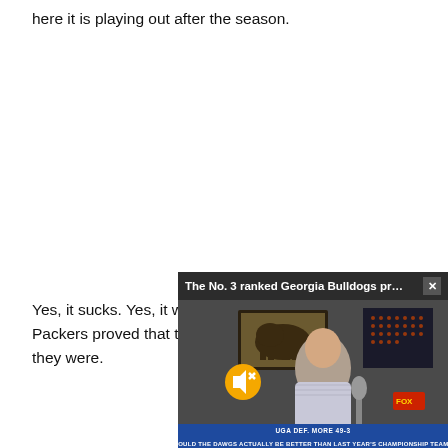here it is playing out after the season.
Yes, it sucks. Yes, it wil... Packers proved that th... they were.
[Figure (screenshot): A floating video player overlay showing a sports broadcast. Title bar reads 'The No. 3 ranked Georgia Bulldogs pro...' with an X close button. The video shows a man speaking at a desk with a microphone and bison artwork behind him. A mute icon (yellow circle with speaker crossed out) is visible. The lower chyron reads 'UGA DEF. MORE 49-3' and 'COULD THE DAWGS ACTUALLY BE BETTER THAN LAST YEAR'S CHAMPIONSHIP TEAM?']